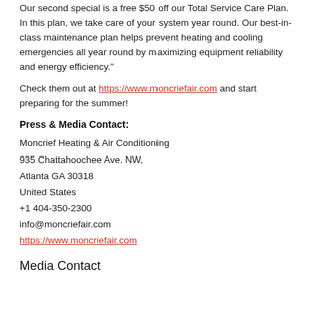Our second special is a free $50 off our Total Service Care Plan. In this plan, we take care of your system year round. Our best-in-class maintenance plan helps prevent heating and cooling emergencies all year round by maximizing equipment reliability and energy efficiency."
Check them out at https://www.moncriefair.com and start preparing for the summer!
Press & Media Contact:
Moncrief Heating & Air Conditioning
935 Chattahoochee Ave. NW,
Atlanta GA 30318
United States
+1 404-350-2300
info@moncriefair.com
https://www.moncriefair.com
Media Contact